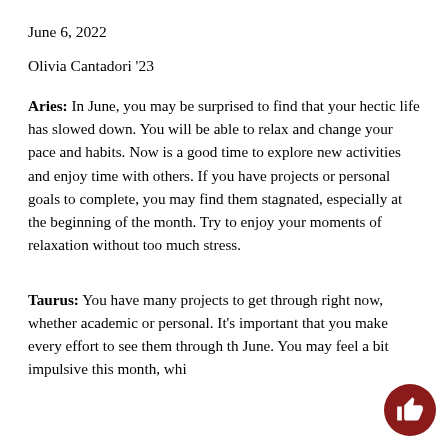June 6, 2022
Olivia Cantadori '23
Aries: In June, you may be surprised to find that your hectic life has slowed down. You will be able to relax and change your pace and habits. Now is a good time to explore new activities and enjoy time with others. If you have projects or personal goals to complete, you may find them stagnated, especially at the beginning of the month. Try to enjoy your moments of relaxation without too much stress.
Taurus: You have many projects to get through right now, whether academic or personal. It's important that you make every effort to see them through the June. You may feel a bit impulsive this month, whi...